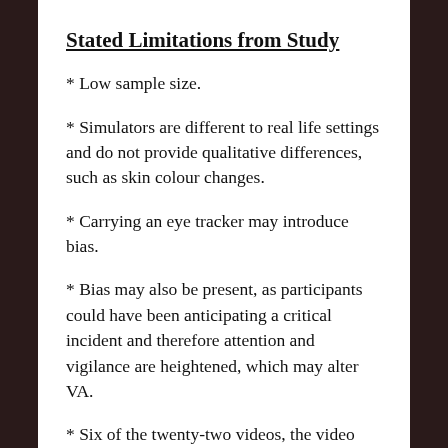Stated Limitations from Study
* Low sample size.
* Simulators are different to real life settings and do not provide qualitative differences, such as skin colour changes.
* Carrying an eye tracker may introduce bias.
* Bias may also be present, as participants could have been anticipating a critical incident and therefore attention and vigilance are heightened, which may alter VA.
* Six of the twenty-two videos, the video data was not useable due to technical reasons.
* The median years of experience in Group B